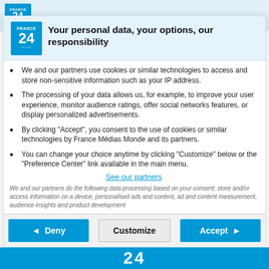[Figure (logo): France 24 logo — blue square with FRANCE 24 text and wave design]
Your personal data, your options, our responsibility
We and our partners use cookies or similar technologies to access and store non-sensitive information such as your IP address.
The processing of your data allows us, for example, to improve your user experience, monitor audience ratings, offer social networks features, or display personalized advertisements.
By clicking "Accept", you consent to the use of cookies or similar technologies by France Médias Monde and its partners.
You can change your choice anytime by clicking "Customize" below or the "Preference Center" link available in the main menu.
See our partners
We and our partners do the following data processing based on your consent:  store and/or access information on a device, personalised ads and content, ad and content measurement, audience insights and product development
◄  Deny
Customize
Accept  ►